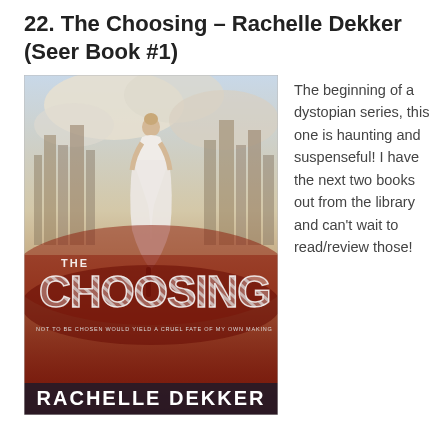22. The Choosing – Rachelle Dekker (Seer Book #1)
[Figure (photo): Book cover of 'The Choosing' by Rachelle Dekker. A woman in a white dress stands with her back to the viewer against a dystopian cityscape. The lower half is dominated by red fog/smoke. Large striped text reads 'THE CHOOSING' across the middle. Subtitle reads 'NOT TO BE CHOSEN WOULD YIELD A CRUEL FATE OF MY OWN MAKING'. Author name 'RACHELLE DEKKER' appears at the bottom in large white letters.]
The beginning of a dystopian series, this one is haunting and suspenseful! I have the next two books out from the library and can't wait to read/review those!